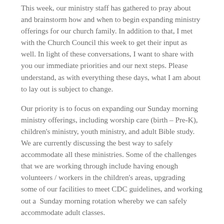This week, our ministry staff has gathered to pray about and brainstorm how and when to begin expanding ministry offerings for our church family. In addition to that, I met with the Church Council this week to get their input as well. In light of these conversations, I want to share with you our immediate priorities and our next steps. Please understand, as with everything these days, what I am about to lay out is subject to change.
Our priority is to focus on expanding our Sunday morning ministry offerings, including worship care (birth – Pre-K), children's ministry, youth ministry, and adult Bible study. We are currently discussing the best way to safely accommodate all these ministries. Some of the challenges that we are working through include having enough volunteers / workers in the children's areas, upgrading some of our facilities to meet CDC guidelines, and working out a  Sunday morning rotation whereby we can safely accommodate adult classes.
We hope to begin the expansion of Sunday morning ministry